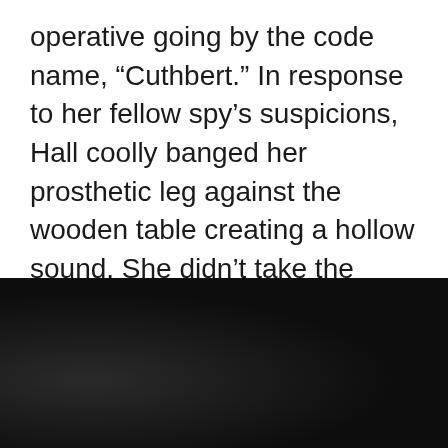operative going by the code name, “Cuthbert.” In response to her fellow spy’s suspicions, Hall coolly banged her prosthetic leg against the wooden table creating a hollow sound. She didn’t take the criticism or misogyny to heart—she had people to save.
[Figure (photo): Dark, dimly lit photograph showing what appears to be a person’s legs and a cylindrical object (possibly a prosthetic leg or wooden object against a table), with dark patterned fabric visible on both sides and a blue-gray element in the upper right corner.]